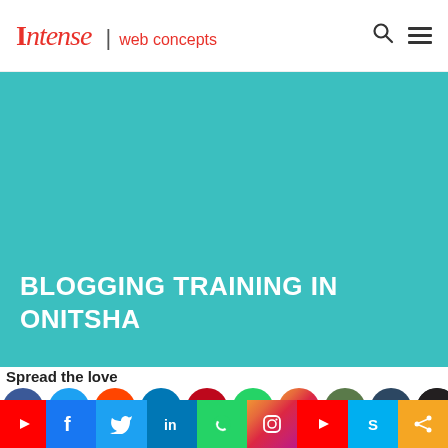Intense | web concepts
BLOGGING TRAINING IN ONITSHA
Spread the love
[Figure (other): Social media sharing icons row: Facebook, Twitter, Reddit, LinkedIn, Pinterest, WhatsApp, Instagram, Email, Tumblr, AOL, Skype and more]
[Figure (other): Social media sharing bar: YouTube, Facebook, Twitter, LinkedIn, WhatsApp, Instagram, YouTube, Skype, Share]